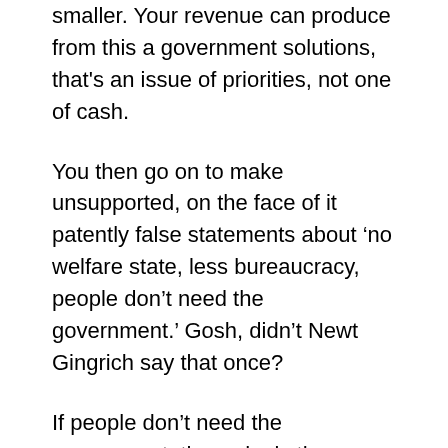smaller. Your revenue can produce from this a government solutions, that's an issue of priorities, not one of cash.
You then go on to make unsupported, on the face of it patently false statements about 'no welfare state, less bureaucracy, people don't need the government.' Gosh, didn't Newt Gingrich say that once?
If people don't need the government, then why is there: Social Security; Medicare; The Food and Drug Administration; the Securities and Exchange Commission; antitrust legislation; the Departments of Education and the Environment; the department of Transportation? And most of all, the Department of Homeland Security?
Yeah, scrap 'em all. Let the free market rule.